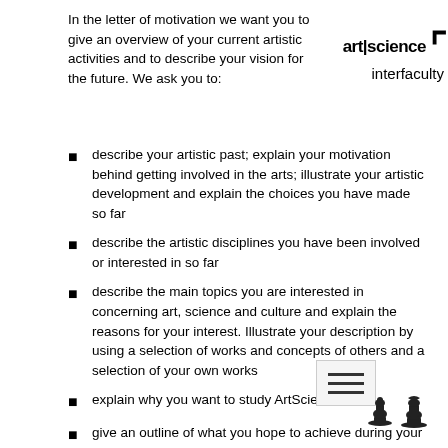In the letter of motivation we want you to give an overview of your current artistic activities and to describe your vision for the future. We ask you to:
[Figure (logo): art|science interfaculty logo with bracket]
describe your artistic past; explain your motivation behind getting involved in the arts; illustrate your artistic development and explain the choices you have made so far
describe the artistic disciplines you have been involved or interested in so far
describe the main topics you are interested in concerning art, science and culture and explain the reasons for your interest. Illustrate your description by using a selection of works and concepts of others and a selection of your own works
explain why you want to study ArtScience
give an outline of what you hope to achieve during your studies at the ArtScience Interfaculty
give a description of how you think you will be able to contribute to the learning environment at the Interfaculty
describe what you imagine yourself doing after finishing your study